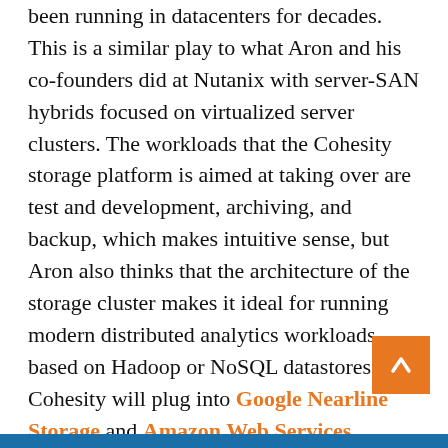been running in datacenters for decades. This is a similar play to what Aron and his co-founders did at Nutanix with server-SAN hybrids focused on virtualized server clusters. The workloads that the Cohesity storage platform is aimed at taking over are test and development, archiving, and backup, which makes intuitive sense, but Aron also thinks that the architecture of the storage cluster makes it ideal for running modern distributed analytics workloads based on Hadoop or NoSQL datastores, too. Cohesity will plug into Google Nearline Storage and Amazon Web Services Glacier archival services, and Aron concedes that while these are not as expensive as generic block or object storage on the cloud, Nearline Storage and Glacier are more expensive for large datasets and that Cohesity will probably have to plug into local tape arrays at some point.